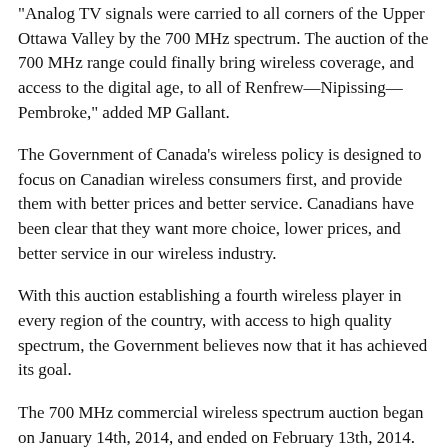“Analog TV signals were carried to all corners of the Upper Ottawa Valley by the 700 MHz spectrum. The auction of the 700 MHz range could finally bring wireless coverage, and access to the digital age, to all of Renfrew—Nipissing—Pembroke,” added MP Gallant.
The Government of Canada’s wireless policy is designed to focus on Canadian wireless consumers first, and provide them with better prices and better service. Canadians have been clear that they want more choice, lower prices, and better service in our wireless industry.
With this auction establishing a fourth wireless player in every region of the country, with access to high quality spectrum, the Government believes now that it has achieved its goal.
The 700 MHz commercial wireless spectrum auction began on January 14th, 2014, and ended on February 13th, 2014. The total revenue generated from the 700 MHz auction is $5.3 billion, the highest return ever for a wireless auction in Canada.
The results of the wireless auction is excellent news for Renfrew-Nipissing-Pembroke and the #OttawaValley http://t.co/iMpFzaNSp4
— Cheryl Gallant (@cherylgallant) February 25, 2014